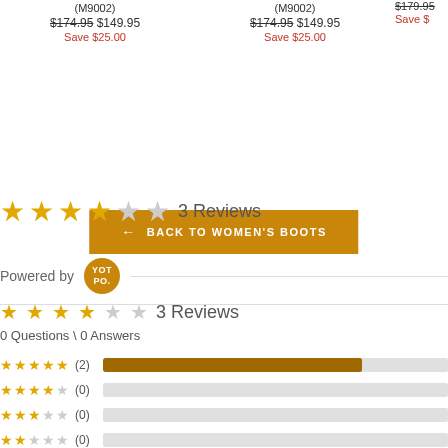(M9002) $174.95 $149.95 Save $25.00
(M9002) $174.95 $149.95 Save $25.00
$179.95 Save $
← BACK TO WOMEN'S BOOTS
★★★★☆☆ 3 Reviews
Powered by YOT PO.
★★★★☆☆ 3 Reviews
0 Questions \ 0 Answers
[Figure (bar-chart): Star rating bars: 5★(2), 4★(0), 3★(0), 2★(0), 1★(1)]